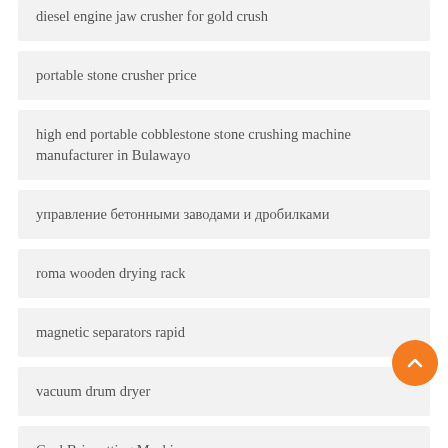diesel engine jaw crusher for gold crush
portable stone crusher price
high end portable cobblestone stone crushing machine manufacturer in Bulawayo
управление бетонными заводами и дробилками
roma wooden drying rack
magnetic separators rapid
vacuum drum dryer
Coal Briquetting Machine